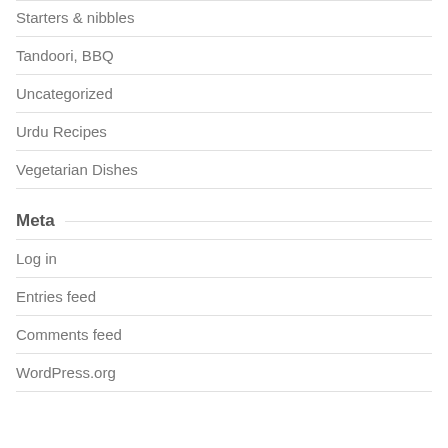Starters & nibbles
Tandoori, BBQ
Uncategorized
Urdu Recipes
Vegetarian Dishes
Meta
Log in
Entries feed
Comments feed
WordPress.org